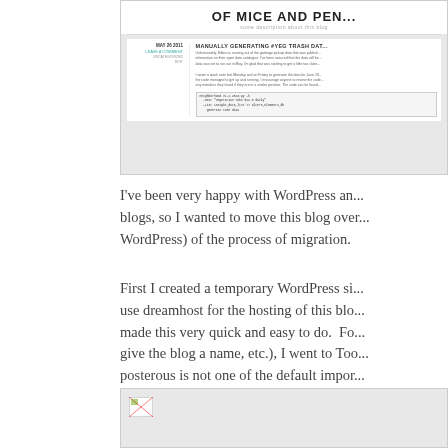[Figure (screenshot): Screenshot of a blog called 'Of Mice and Pen...' showing a blog post dated MAY 26 2011 titled 'MANUALLY GENERATING #YEG TRASH DAT...' with a LEAVE A COMMENT link, UNCATEGORIZED category, EDIT link, and body text with a code block]
I've been very happy with WordPress an... blogs, so I wanted to move this blog over... WordPress) of the process of migration.
First I created a temporary WordPress si... use dreamhost for the hosting of this blo... made this very quick and easy to do.  Fo... give the blog a name, etc.), I went to Too... posterous is not one of the default impor...
[Figure (screenshot): Bottom screenshot showing a broken image icon in the top-left corner on a light gray background]